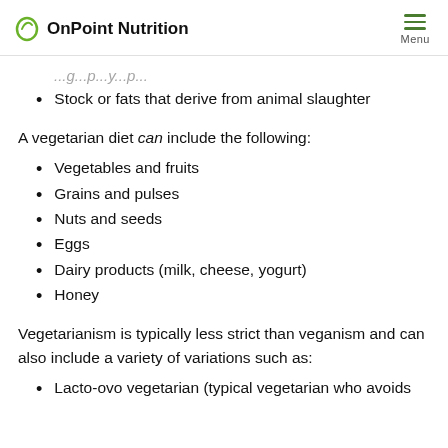OnPoint Nutrition
Stock or fats that derive from animal slaughter
A vegetarian diet can include the following:
Vegetables and fruits
Grains and pulses
Nuts and seeds
Eggs
Dairy products (milk, cheese, yogurt)
Honey
Vegetarianism is typically less strict than veganism and can also include a variety of variations such as:
Lacto-ovo vegetarian (typical vegetarian who avoids…